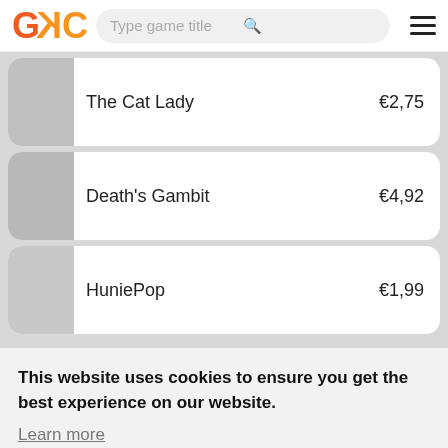GKC — Type game title
The Cat Lady  €2,75
Death's Gambit  €4,92
HuniePop  €1,99
This website uses cookies to ensure you get the best experience on our website. Learn more
Got it!